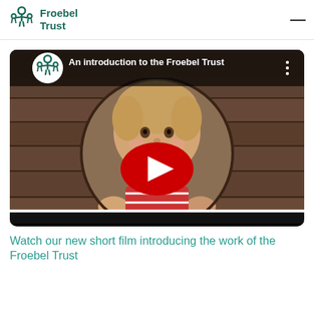Froebel Trust
[Figure (screenshot): YouTube video embed thumbnail showing a child peeking through a circular hole in wooden planks. Video title: 'An introduction to the Froebel Trust'. Red YouTube play button in center. Froebel Trust logo in top-left corner. Caption reads: learning about a Froebelian approach to education.]
Watch our new short film introducing the work of the Froebel Trust